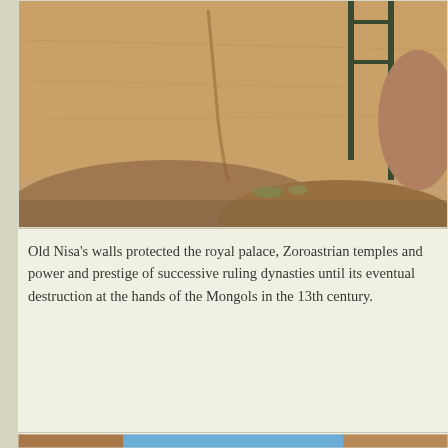[Figure (photo): Archaeological ruins at Old Nisa showing sandy stone walls and ancient rock formations with metal fence posts visible, desert landscape setting.]
Old Nisa's walls protected the royal palace, Zoroastrian temples and power and prestige of successive ruling dynasties until its eventual destruction at the hands of the Mongols in the 13th century.
[Figure (photo): Close-up view through ancient stone gateway or passage at Old Nisa archaeological site, showing tall earthen walls flanking a corridor with blue sky and arid landscape visible in the background.]